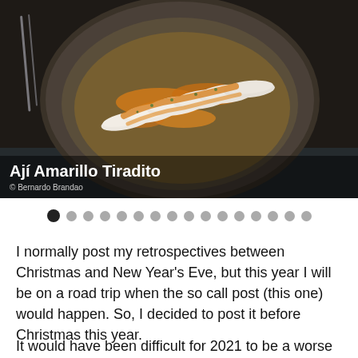[Figure (photo): A bowl containing Ají Amarillo Tiradito - sliced white fish pieces with orange ají amarillo sauce drizzled over them, photographed from above on a dark slate background. Photo credit: Bernardo Brandao]
Ají Amarillo Tiradito
© Bernardo Brandao
I normally post my retrospectives between Christmas and New Year's Eve, but this year I will be on a road trip when the so call post (this one) would happen. So, I decided to post it before Christmas this year.
It would have been difficult for 2021 to be a worse year